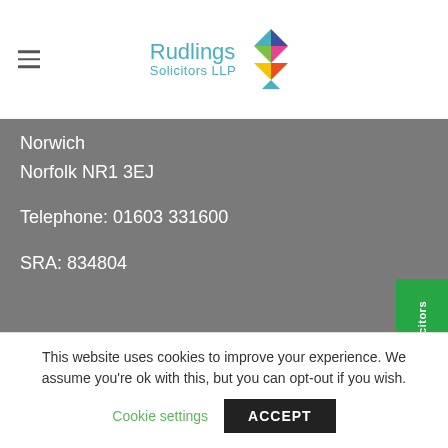[Figure (logo): Rudlings Solicitors LLP logo with colourful diamond/kite shapes]
Norwich
Norfolk NR1 3EJ
Telephone: 01603 331600
SRA: 834804
Thetford
1 Well Street
Thetford
This website uses cookies to improve your experience. We assume you're ok with this, but you can opt-out if you wish.
Cookie settings
ACCEPT